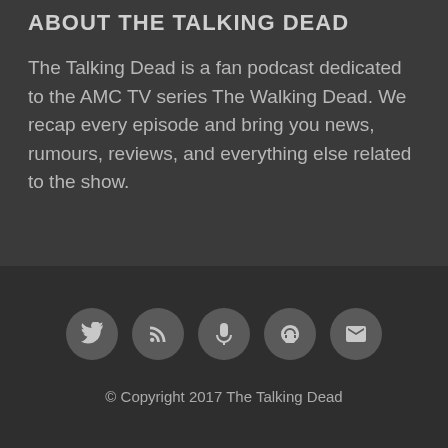ABOUT THE TALKING DEAD
The Talking Dead is a fan podcast dedicated to the AMC TV series The Walking Dead. We recap every episode and bring you news, rumours, reviews, and everything else related to the show.
[Figure (infographic): Row of five circular social media/contact icon buttons: Twitter bird, RSS feed, Podcast/microphone, Apple Podcasts, and Email envelope icons on dark grey circles.]
© Copyright 2017 The Talking Dead